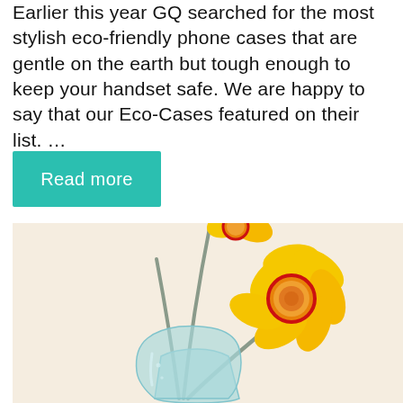Earlier this year GQ searched for the most stylish eco-friendly phone cases that are gentle on the earth but tough enough to keep your handset safe. We are happy to say that our Eco-Cases featured on their list. …
Read more
[Figure (illustration): Illustration of yellow daffodil flowers with grey stems in a light blue glass vase, on a beige/cream background. A large daffodil bloom with red-orange center is prominent on the right side.]